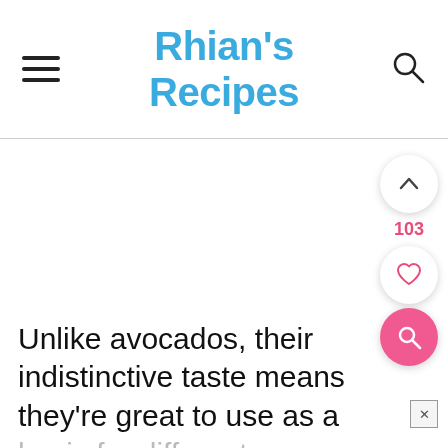Rhian's Recipes
[Figure (other): White content area with sidebar UI buttons: up-arrow button, like count 103, heart/like button, pink search button]
Unlike avocados, their indistinctive taste means they're great to use as a basis for different flavours. Unlike